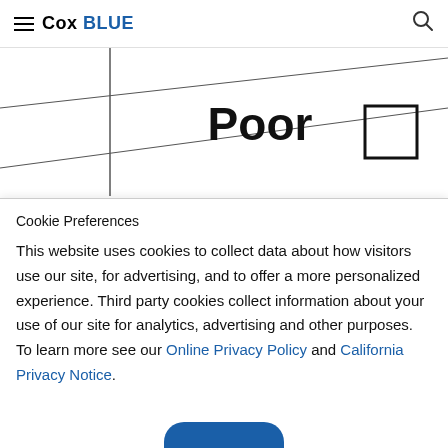Cox BLUE
[Figure (other): Partial view of a survey or form showing the word 'Poor' in bold with a checkbox next to it, overlaid with diagonal lines suggesting a table or form grid]
Cookie Preferences
This website uses cookies to collect data about how visitors use our site, for advertising, and to offer a more personalized experience. Third party cookies collect information about your use of our site for analytics, advertising and other purposes. To learn more see our Online Privacy Policy and California Privacy Notice.